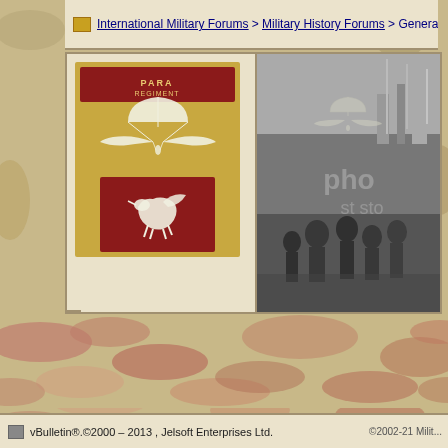International Military Forums > Military History Forums > General M...
[Figure (illustration): Parachute Regiment badge showing wings on khaki background and Pegasus on maroon background]
[Figure (photo): Black and white historical photograph of military personnel with parachute regiment insignia watermark overlay, labeled as stock photo]
vBulletin®.©2000 – 2013 , Jelsoft Enterprises Ltd.
©2002-21 Milit...